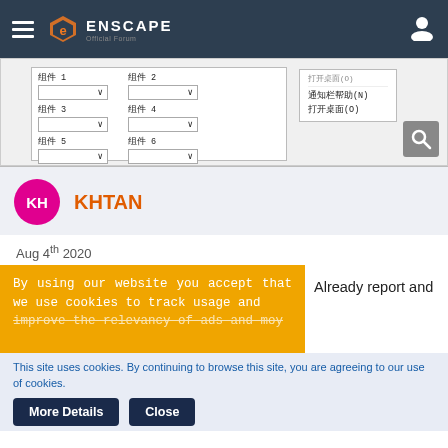Enscape Official Forum - navigation header with hamburger menu, logo, and user icon
[Figure (screenshot): Screenshot of a Chinese-language UI dialog with dropdowns labeled 组件1 through 组件8, and a context menu showing options 打开桌面(O), 通知栏帮助(N), 打开桌面(O), with a search icon]
KH  KHTAN
Aug 4th 2020
By using our website you accept that we use cookies to track usage and improve the relevancy of ads and may
Already report and
This site uses cookies. By continuing to browse this site, you are agreeing to our use of cookies.
More Details   Close